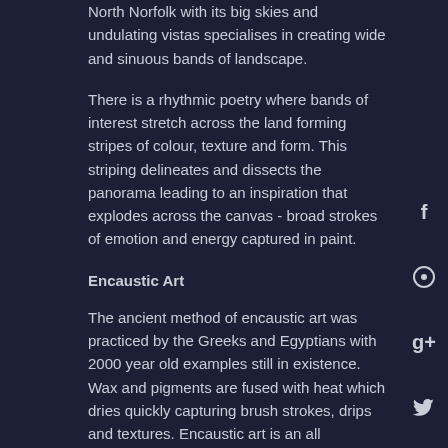North Norfolk with its big skies and undulating vistas specialises in creating wide and sinuous bands of landscape.
There is a rhythmic poetry where bands of interest stretch across the land forming stripes of colour, texture and form. This striping delineates and dissects the panorama leading to an inspiration that explodes across the canvas - broad strokes of emotion and energy captured in paint.
Encaustic Art
The ancient method of encaustic art was practiced by the Greeks and Egyptians with 2000 year old examples still in existence. Wax and pigments are fused with heat which dries quickly capturing brush strokes, drips and textures. Encaustic art is an all consuming very physical practice.  One is seduced by the process of not just applying paint with a brush, palette knife or hands but also the harnessing of heat to energise materials and move the liquids around. The fluidity of the process allows the materials to mix and metamorphose.
Utopia charges a flat rate of £10 for all deliveries in the UK mainla...